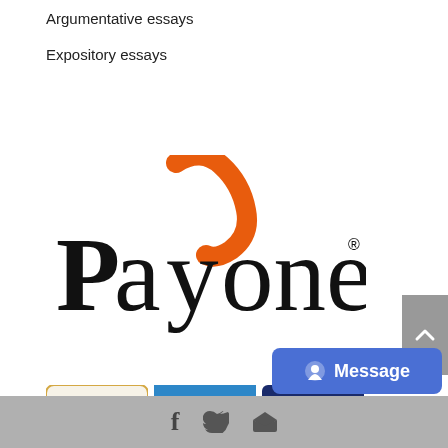Argumentative essays
Expository essays
[Figure (logo): Payoneer logo with orange checkmark swoosh above the letter Y]
[Figure (logo): PayPal, VISA, and MasterCard payment logos]
[Figure (other): Scroll to top button (gray, with upward chevron)]
[Figure (other): Message button (blue, with chat icon and text 'Message')]
f  Twitter bird  RSS feed icons